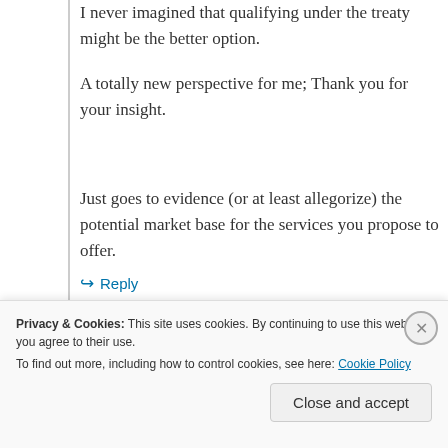I never imagined that qualifying under the treaty might be the better option.
A totally new perspective for me; Thank you for your insight.
Just goes to evidence (or at least allegorize) the potential market base for the services you propose to offer.
Thanks.
Reply
Privacy & Cookies: This site uses cookies. By continuing to use this website, you agree to their use. To find out more, including how to control cookies, see here: Cookie Policy